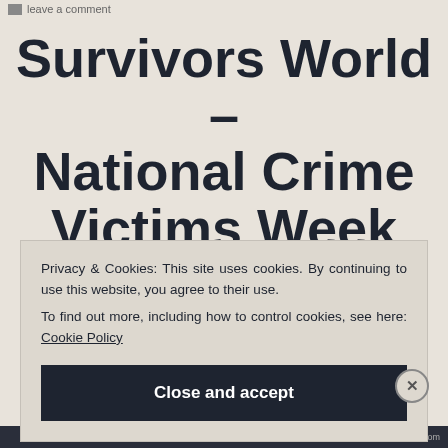Leave a comment
Survivors World – National Crime Victims Week 2014
Privacy & Cookies: This site uses cookies. By continuing to use this website, you agree to their use.
To find out more, including how to control cookies, see here: Cookie Policy
Close and accept